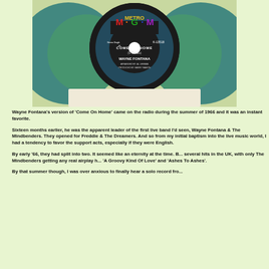[Figure (photo): A 45 RPM vinyl record on an MGM label reading 'COME ON HOME' by WAYNE FONTANA, catalog number K-13518, shown against a green-and-teal MGM record sleeve with circular design.]
Wayne Fontana's version of 'Come On Home' came on the radio during the summer of 1966 and it was an instant favorite.
Sixteen months earlier, he was the apparent leader of the first live band I'd seen, Wayne Fontana & The Mindbenders. They opened for Freddie & The Dreamers. And so from my initial baptism into the live music world, I had a tendency to favor the support acts, especially if they were English.
By early '66, they had split into two. It seemed like an eternity at the time. Both had several hits in the UK, with only The Mindbenders getting any real airplay here with 'A Groovy Kind Of Love' and 'Ashes To Ashes'.
By that summer though, I was over anxious to finally hear a solo record fro...